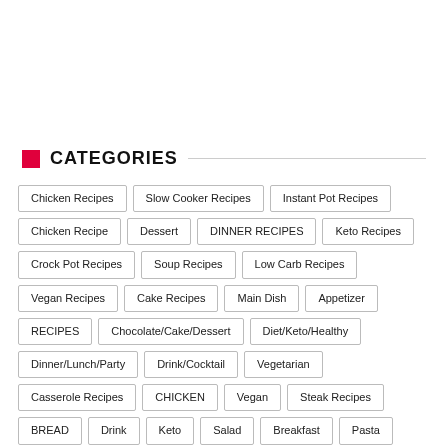CATEGORIES
Chicken Recipes
Slow Cooker Recipes
Instant Pot Recipes
Chicken Recipe
Dessert
DINNER RECIPES
Keto Recipes
Crock Pot Recipes
Soup Recipes
Low Carb Recipes
Vegan Recipes
Cake Recipes
Main Dish
Appetizer
RECIPES
Chocolate/Cake/Dessert
Diet/Keto/Healthy
Dinner/Lunch/Party
Drink/Cocktail
Vegetarian
Casserole Recipes
CHICKEN
Vegan
Steak Recipes
BREAD
Drink
Keto
Salad
Breakfast
Pasta